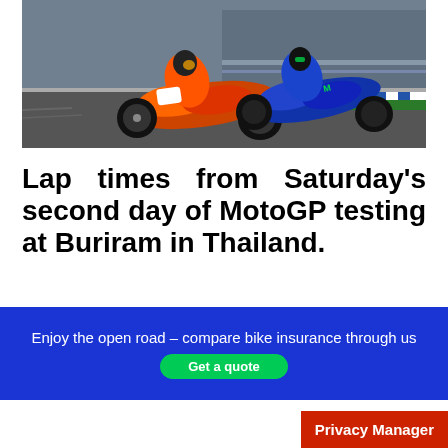[Figure (photo): Two MotoGP racing motorcycles leaning into a corner on a racetrack, one in orange/red Repsol Honda livery in front, another in blue Yamaha livery behind, racing on asphalt with track markings visible]
Lap times from Saturday's second day of MotoGP testing at Buriram in Thailand.
[Figure (infographic): Blue advertisement banner reading 'Enjoy the open road – compare bike insurance through us' with a green 'Get a quote' button partially visible at the bottom]
Privacy Manager